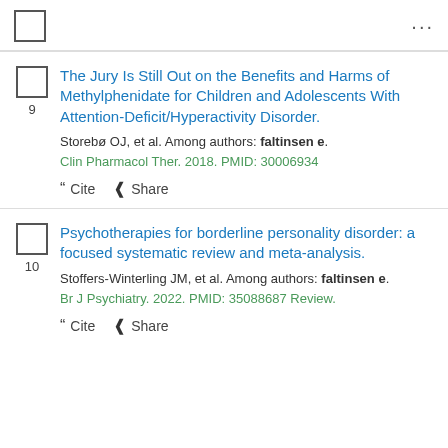9. The Jury Is Still Out on the Benefits and Harms of Methylphenidate for Children and Adolescents With Attention-Deficit/Hyperactivity Disorder. Storebø OJ, et al. Among authors: faltinsen e. Clin Pharmacol Ther. 2018. PMID: 30006934
10. Psychotherapies for borderline personality disorder: a focused systematic review and meta-analysis. Stoffers-Winterling JM, et al. Among authors: faltinsen e. Br J Psychiatry. 2022. PMID: 35088687 Review.